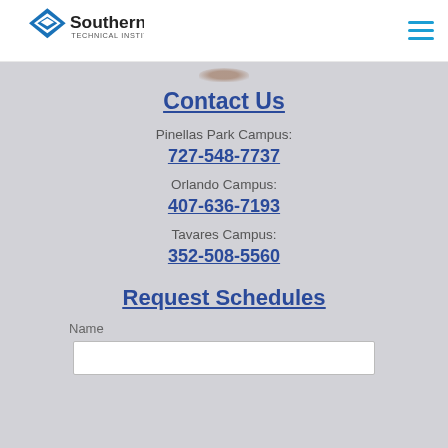Southern Technical Institute — navigation header with logo and hamburger menu
Contact Us
Pinellas Park Campus:
727-548-7737
Orlando Campus:
407-636-7193
Tavares Campus:
352-508-5560
Request Schedules
Name